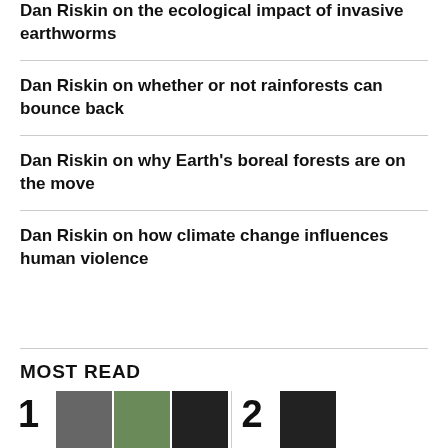Dan Riskin on the ecological impact of invasive earthworms
Dan Riskin on whether or not rainforests can bounce back
Dan Riskin on why Earth's boreal forests are on the move
Dan Riskin on how climate change influences human violence
MOST READ
1
2